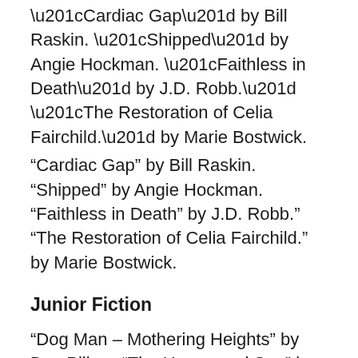“Cardiac Gap” by Bill Raskin. “Shipped” by Angie Hockman. “Faithless in Death” by J.D. Robb.” “The Restoration of Celia Fairchild.” by Marie Bostwick.
Junior Fiction
“Dog Man – Mothering Heights” by Dav Pilkey. “The Unmapped Sea” by Maryrose Wood. “The Long Lost Home” by Maryrose Wood. “The Mysterious Benedict Society” (10th anniversary edition) by Trenton Lee Stewart. “The Mysterious Benedict Society and the Riddle of Ages” by Trenton Lee Stewart.
Junior Non-Fiction
“Who is Kamala Harris” by Kirsten Anderson. “The biography of Kamala Harris” by Ashley Stephens. “Sylvie” by Sylvie Kantorvitz. “I Dissent” – Ruth Bader Ginsburg makes her mark by Debbie Levy. “The Story of Ruth Bader Ginsburg” by Susan B. Kalz. “Who was